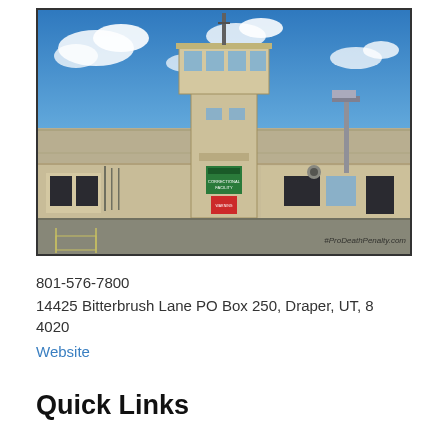[Figure (photo): Exterior photo of a correctional facility (prison) showing a guard tower in the center, chain-link fencing with razor wire, low beige/tan concrete buildings on either side, a lamp post to the right, a green correctional facility sign on the tower, and a blue sky with clouds. Watermark reads #ProDeathPenalty.com]
801-576-7800
14425 Bitterbrush Lane PO Box 250, Draper, UT, 84020
Website
Quick Links